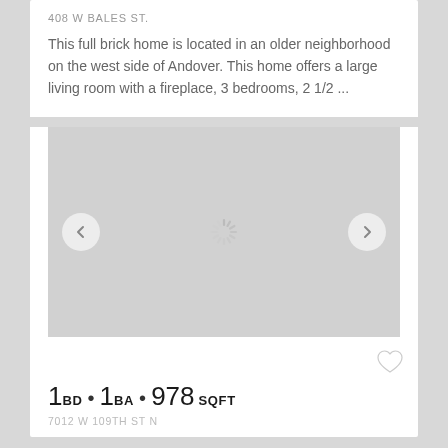408 W BALES ST.
This full brick home is located in an older neighborhood on the west side of Andover. This home offers a large living room with a fireplace, 3 bedrooms, 2 1/2 ...
[Figure (photo): Image loading placeholder with gray background, left and right navigation arrows, and a spinning loading indicator in the center]
1BD • 1BA • 978 SQFT
7012 W 109TH ST N